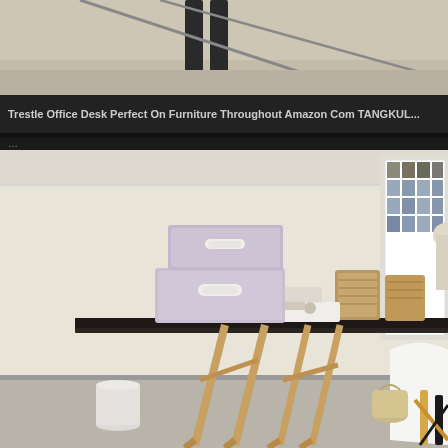[Figure (photo): Partial view of a desk or furniture leg area with carpet/floor visible, appears to be a trestle office desk bottom portion]
Trestle Office Desk Perfect On Furniture Throughout Amazon Com TANGKUL...
[Figure (photo): Stylish home office setup with a trestle desk featuring wooden sawhorse legs and a dark glass/wood top. Two lavender/grey storage boxes with white leather handles sit on the desk. A large framed photo collage artwork hangs on the cream wall behind. Woven baskets and a white tray with items are on the desk. A white Eames-style chair is partially visible on the right. A white cylindrical waste bin sits on the floor.]